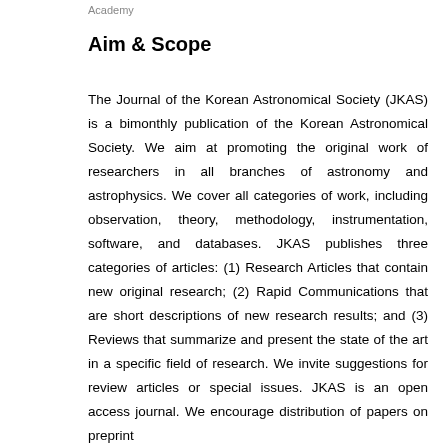Academy
Aim & Scope
The Journal of the Korean Astronomical Society (JKAS) is a bimonthly publication of the Korean Astronomical Society. We aim at promoting the original work of researchers in all branches of astronomy and astrophysics. We cover all categories of work, including observation, theory, methodology, instrumentation, software, and databases. JKAS publishes three categories of articles: (1) Research Articles that contain new original research; (2) Rapid Communications that are short descriptions of new research results; and (3) Reviews that summarize and present the state of the art in a specific field of research. We invite suggestions for review articles or special issues. JKAS is an open access journal. We encourage distribution of papers on preprint servers like the arXiv and encourage authors to provide...